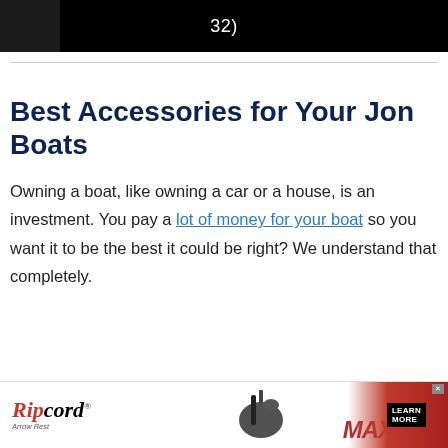[Figure (screenshot): Black video player bar showing '32)' text in white on dark background]
Best Accessories for Your Jon Boats
Owning a boat, like owning a car or a house, is an investment. You pay a lot of money for your boat so you want it to be the best it could be right? We understand that completely.
[Figure (illustration): Ripcord Arrow Rest advertisement banner with logo, bow rest photo, MAX text, and LEARN MORE button]